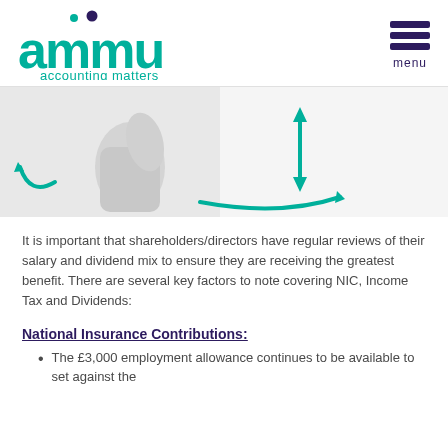[Figure (logo): ammu accounting matters logo in teal/green with purple dots, with hamburger menu icon on right]
[Figure (photo): 3D illustration of thumbs up gesture with teal circular arrows indicating review/cycle]
It is important that shareholders/directors have regular reviews of their salary and dividend mix to ensure they are receiving the greatest benefit. There are several key factors to note covering NIC, Income Tax and Dividends:
National Insurance Contributions:
The £3,000 employment allowance continues to be available to set against the